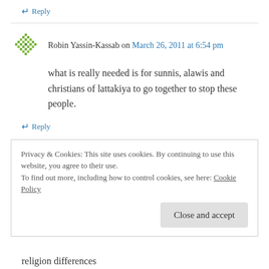↵ Reply
Robin Yassin-Kassab on March 26, 2011 at 6:54 pm
what is really needed is for sunnis, alawis and christians of lattakiya to go together to stop these people.
↵ Reply
A. A-K on March 26, 2011 at 6:57 pm
Privacy & Cookies: This site uses cookies. By continuing to use this website, you agree to their use. To find out more, including how to control cookies, see here: Cookie Policy
Close and accept
religion differences